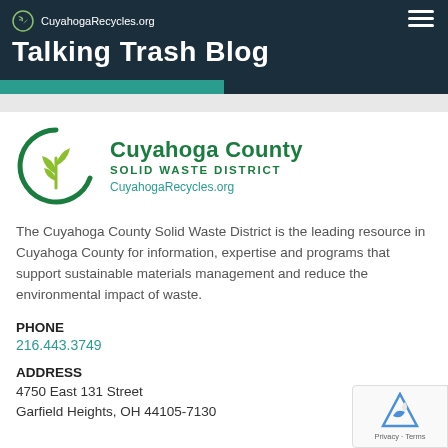CuyahogaRecycles.org
Talking Trash Blog
[Figure (logo): Cuyahoga County Solid Waste District logo — green circle with leaf/plant icon, text reads 'Cuyahoga County SOLID WASTE DISTRICT CuyahogaRecycles.org']
The Cuyahoga County Solid Waste District is the leading resource in Cuyahoga County for information, expertise and programs that support sustainable materials management and reduce the environmental impact of waste.
PHONE
216.443.3749
ADDRESS
4750 East 131 Street
Garfield Heights, OH 44105-7130